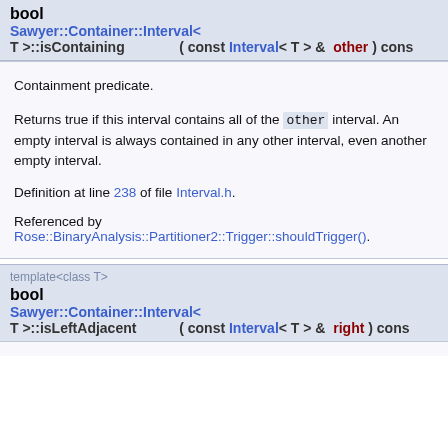bool
Sawyer::Container::Interval<
T >::isContaining  ( const Interval< T > &  other ) cons
Containment predicate.
Returns true if this interval contains all of the other interval. An empty interval is always contained in any other interval, even another empty interval.
Definition at line 238 of file Interval.h.
Referenced by Rose::BinaryAnalysis::Partitioner2::Trigger::shouldTrigger().
template<class T>
bool
Sawyer::Container::Interval<
T >::isLeftAdjacent  ( const Interval< T > &  right ) cons